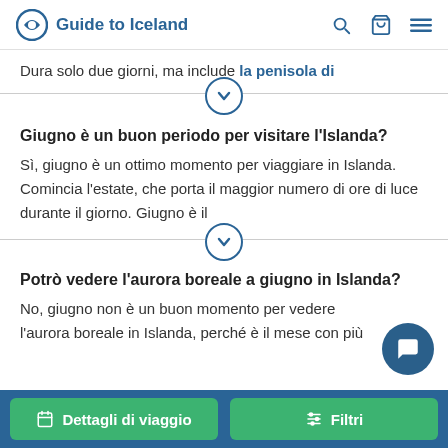Guide to Iceland
Dura solo due giorni, ma include la penisola di
Giugno è un buon periodo per visitare l'Islanda?
Sì, giugno è un ottimo momento per viaggiare in Islanda. Comincia l'estate, che porta il maggior numero di ore di luce durante il giorno. Giugno è il
Potrò vedere l'aurora boreale a giugno in Islanda?
No, giugno non è un buon momento per vedere l'aurora boreale in Islanda, perché è il mese con più
Dettagli di viaggio   Filtri